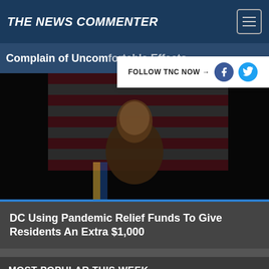THE NEWS COMMENTER
Complain of Uncomfortable Effects
FOLLOW TNC NOW →
[Figure (photo): A person speaking at a podium in front of American flags in a dark setting]
DC Using Pandemic Relief Funds To Give Residents An Extra $1,000
MOST POPULAR THIS WEEK